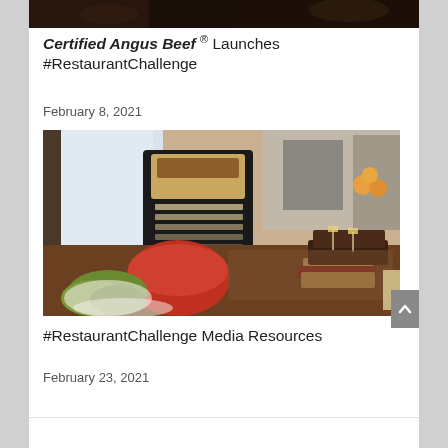[Figure (photo): Partial top of a dark restaurant/food photo cropped at top of page]
Certified Angus Beef® Launches #RestaurantChallenge
February 8, 2021
[Figure (photo): A deli or restaurant spread showing sandwiches, a red bowl, dark bread, and various food items on a wooden table with a Larder sign in the background]
#RestaurantChallenge Media Resources
February 23, 2021